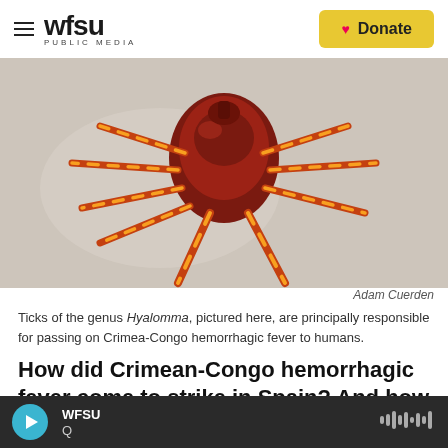WFSU PUBLIC MEDIA — Donate
[Figure (photo): Close-up photograph of a Hyalomma tick with red and orange-striped legs against a light background]
Adam Cuerden
Ticks of the genus Hyalomma, pictured here, are principally responsible for passing on Crimea-Congo hemorrhagic fever to humans.
How did Crimean-Congo hemorrhagic fever come to strike in Spain? And how worried should we be?
That's the question a team of epidemiologists and
WFSU Q